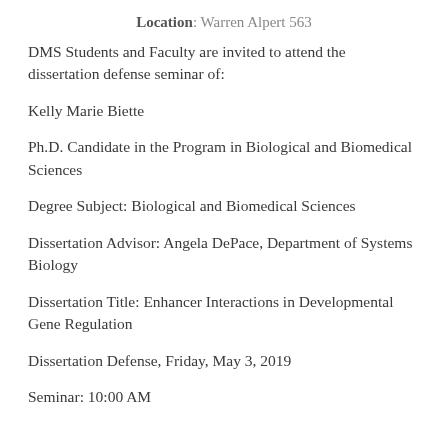Location: Warren Alpert 563
DMS Students and Faculty are invited to attend the dissertation defense seminar of:
Kelly Marie Biette
Ph.D. Candidate in the Program in Biological and Biomedical Sciences
Degree Subject: Biological and Biomedical Sciences
Dissertation Advisor: Angela DePace, Department of Systems Biology
Dissertation Title: Enhancer Interactions in Developmental Gene Regulation
Dissertation Defense, Friday, May 3, 2019
Seminar: 10:00 AM